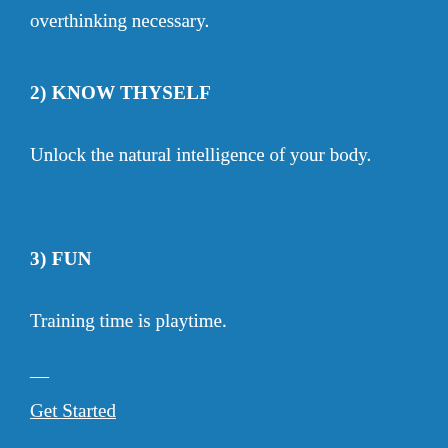overthinking necessary.
2) KNOW THYSELF
Unlock the natural intelligence of your body.
3) FUN
Training time is playtime.
—
Get Started